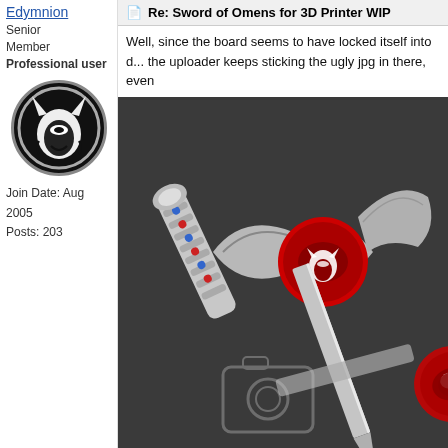Edymnion
Senior Member
Professional user
[Figure (photo): ThunderCats logo avatar — white cat head silhouette on black circular background with silver border]
Join Date: Aug 2005
Posts: 203
Re: Sword of Omens for 3D Printer WIP
Well, since the board seems to have locked itself into d... the uploader keeps sticking the ugly jpg in there, even
[Figure (photo): 3D render of the Sword of Omens from ThunderCats — a detailed silver sword with red and blue gem accents on the handle, a decorative guard featuring the ThunderCats eye symbol in red, shown on a dark background. A partial second sword render is visible below.]